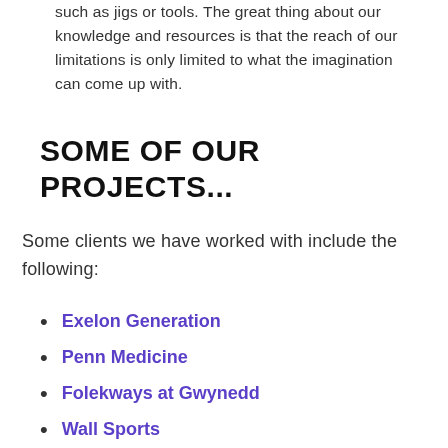such as jigs or tools. The great thing about our knowledge and resources is that the reach of our limitations is only limited to what the imagination can come up with.
SOME OF OUR PROJECTS...
Some clients we have worked with include the following:
Exelon Generation
Penn Medicine
Folekways at Gwynedd
Wall Sports
OWarmor